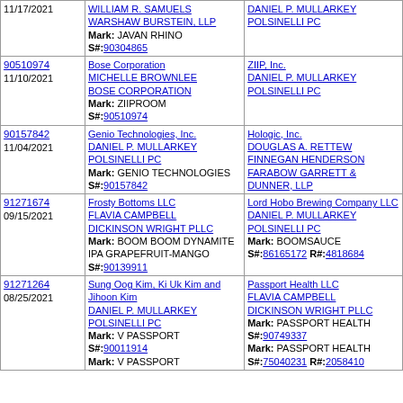| Case/Date | Plaintiff | Defendant |
| --- | --- | --- |
| 11/17/2021 | WILLIAM R. SAMUELS WARSHAW BURSTEIN, LLP
Mark: JAVAN RHINO
S#:90304865 | DANIEL P. MULLARKEY POLSINELLI PC |
| 90510974
11/10/2021 | Bose Corporation
MICHELLE BROWNLEE BOSE CORPORATION
Mark: ZIIPROOM
S#:90510974 | ZIIP, Inc.
DANIEL P. MULLARKEY POLSINELLI PC |
| 90157842
11/04/2021 | Genio Technologies, Inc.
DANIEL P. MULLARKEY POLSINELLI PC
Mark: GENIO TECHNOLOGIES
S#:90157842 | Hologic, Inc.
DOUGLAS A. RETTEW FINNEGAN HENDERSON FARABOW GARRETT & DUNNER, LLP |
| 91271674
09/15/2021 | Frosty Bottoms LLC
FLAVIA CAMPBELL DICKINSON WRIGHT PLLC
Mark: BOOM BOOM DYNAMITE IPA GRAPEFRUIT-MANGO
S#:90139911 | Lord Hobo Brewing Company LLC
DANIEL P. MULLARKEY POLSINELLI PC
Mark: BOOMSAUCE
S#:86165172 R#:4818684 |
| 91271264
08/25/2021 | Sung Oog Kim, Ki Uk Kim and Jihoon Kim
DANIEL P. MULLARKEY POLSINELLI PC
Mark: V PASSPORT
S#:90011914
Mark: V PASSPORT | Passport Health LLC
FLAVIA CAMPBELL DICKINSON WRIGHT PLLC
Mark: PASSPORT HEALTH
S#:90749337
Mark: PASSPORT HEALTH
S#:75040231 R#:2058410 |